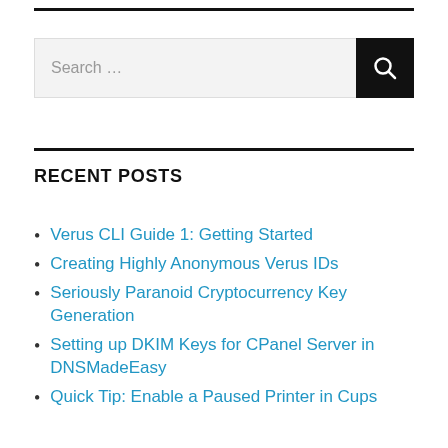[Figure (screenshot): Search bar with text 'Search ...' and a black search button with magnifying glass icon]
RECENT POSTS
Verus CLI Guide 1: Getting Started
Creating Highly Anonymous Verus IDs
Seriously Paranoid Cryptocurrency Key Generation
Setting up DKIM Keys for CPanel Server in DNSMadeEasy
Quick Tip: Enable a Paused Printer in Cups